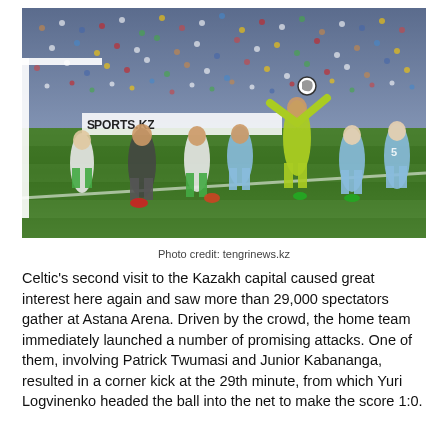[Figure (photo): Football match action shot at Astana Arena stadium. Players from Celtic (green and white hooped kits) and Astana (blue and yellow kits) compete near the goal. The goalkeeper in a yellow/green kit is jumping to catch or punch the ball. A large crowd fills the stadium stands in the background. An advertising board reads SPORTS.KZ.]
Photo credit: tengrinews.kz
Celtic's second visit to the Kazakh capital caused great interest here again and saw more than 29,000 spectators gather at Astana Arena. Driven by the crowd, the home team immediately launched a number of promising attacks. One of them, involving Patrick Twumasi and Junior Kabananga, resulted in a corner kick at the 29th minute, from which Yuri Logvinenko headed the ball into the net to make the score 1:0.